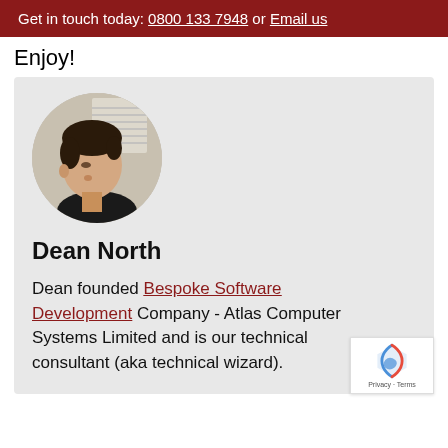Get in touch today: 0800 133 7948 or Email us
Enjoy!
[Figure (photo): Circular cropped portrait photo of Dean North, a young man with dark hair wearing a black top, photographed indoors.]
Dean North
Dean founded Bespoke Software Development Company - Atlas Computer Systems Limited and is our technical consultant (aka technical wizard).